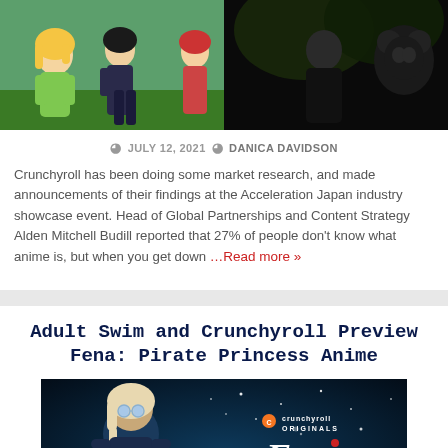[Figure (photo): Anime characters banner image showing colorful characters on left half and dark themed characters on right half]
© JULY 12, 2021   DANICA DAVIDSON
Crunchyroll has been doing some market research, and made announcements of their findings at the Acceleration Japan industry showcase event. Head of Global Partnerships and Content Strategy Alden Mitchell Budill reported that 27% of people don't know what anime is, but when you get down …Read more »
Adult Swim and Crunchyroll Preview Fena: Pirate Princess Anime
[Figure (photo): Fena Pirate Princess anime promotional image showing character silhouette on left and Crunchyroll Originals Fena Pirate Princess logo on right against dark blue background]